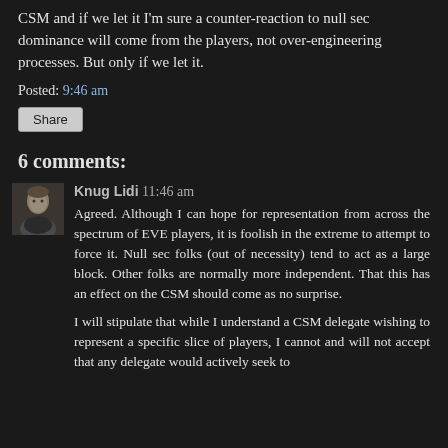CSM and if we let it I'm sure a counter-reaction to null sec dominance will come from the players, not over-engineering processes. But only if we let it.
Posted: 9:46 am
Share
6 comments:
Knug Lidi 11:46 am
Agreed. Although I can hope for representation from across the spectrum of EVE players, it is foolish in the extreme to attempt to force it. Null sec folks (out of necessity) tend to act as a large block. Other folks are normally more independent. That this has an effect on the CSM should come as no surprise.
I will stipulate that while I understand a CSM delegate wishing to represent a specific slice of players, I cannot and will not accept that any delegate would actively seek to